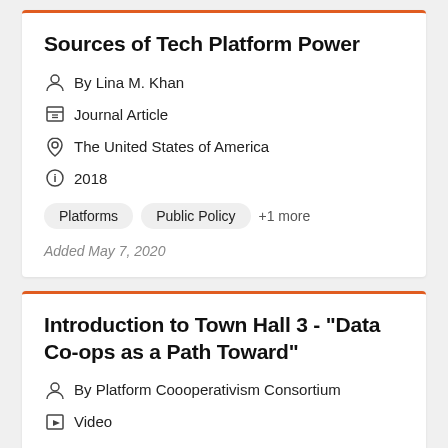Sources of Tech Platform Power
By Lina M. Khan
Journal Article
The United States of America
2018
Platforms
Public Policy
+1 more
Added May 7, 2020
Introduction to Town Hall 3 - "Data Co-ops as a Path Toward"
By Platform Coooperativism Consortium
Video